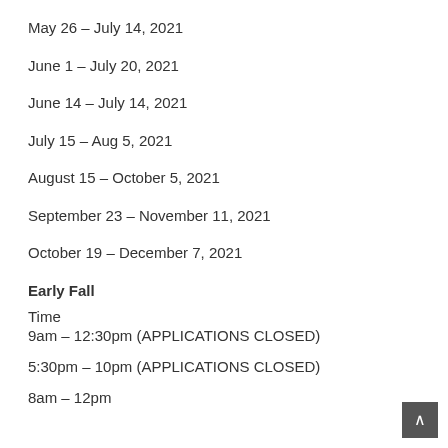May 26 – July 14, 2021
June 1 – July 20, 2021
June 14 – July 14, 2021
July 15 – Aug 5, 2021
August 15 – October 5, 2021
September 23 – November 11, 2021
October 19 – December 7, 2021
Early Fall
Time
9am – 12:30pm (APPLICATIONS CLOSED)
5:30pm – 10pm (APPLICATIONS CLOSED)
8am – 12pm